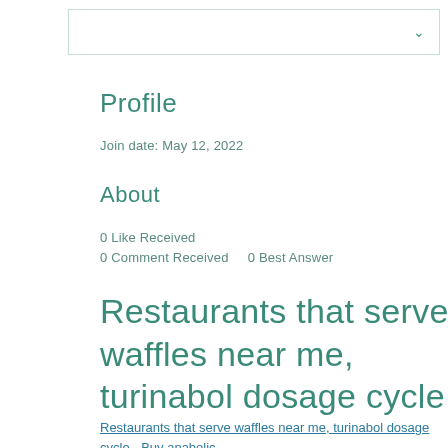[Figure (other): Navigation bar with dropdown chevron arrow]
Profile
Join date: May 12, 2022
About
0 Like Received
0 Comment Received    0 Best Answer
Restaurants that serve waffles near me, turinabol dosage cycle
Restaurants that serve waffles near me, turinabol dosage cycle - Buy anabolic